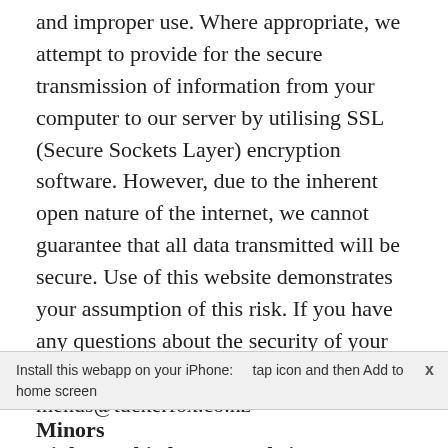and improper use. Where appropriate, we attempt to provide for the secure transmission of information from your computer to our server by utilising SSL (Secure Sockets Layer) encryption software. However, due to the inherent open nature of the internet, we cannot guarantee that all data transmitted will be secure. Use of this website demonstrates your assumption of this risk. If you have any questions about the security of your personal information please contact us at menus@tuckerfox.co.nz
Links to Third Party Websites
This Privacy Policy applies solely to the personal data collected on this website and does not apply to third party websites you may access from here. We are not responsible for the privacy policies of third party websites and we advise customers to read the privacy policies of other websites b...
Install this webapp on your iPhone:    tap icon and then Add to home screen
Minors